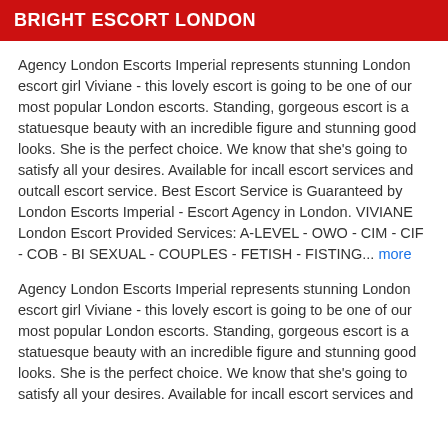BRIGHT ESCORT LONDON
Agency London Escorts Imperial represents stunning London escort girl Viviane - this lovely escort is going to be one of our most popular London escorts. Standing, gorgeous escort is a statuesque beauty with an incredible figure and stunning good looks. She is the perfect choice. We know that she's going to satisfy all your desires. Available for incall escort services and outcall escort service. Best Escort Service is Guaranteed by London Escorts Imperial - Escort Agency in London. VIVIANE London Escort Provided Services: A-LEVEL - OWO - CIM - CIF - COB - BI SEXUAL - COUPLES - FETISH - FISTING... more
Agency London Escorts Imperial represents stunning London escort girl Viviane - this lovely escort is going to be one of our most popular London escorts. Standing, gorgeous escort is a statuesque beauty with an incredible figure and stunning good looks. She is the perfect choice. We know that she's going to satisfy all your desires. Available for incall escort services and